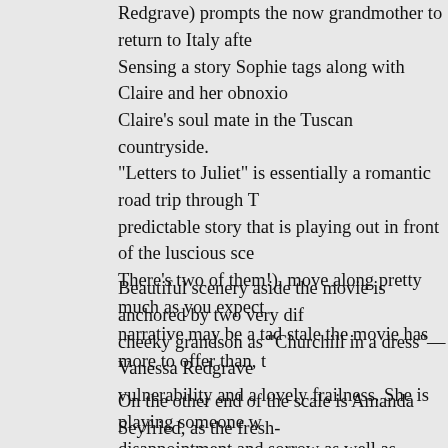Redgrave) prompts the now grandmother to return to Italy after fifty years. Sensing a story Sophie tags along with Claire and her obnoxious grandson to find Claire's soul mate in the Tuscan countryside.
“Letters to Juliet” is essentially a romantic road trip through Tuscany. It’s a predictable story that is playing out in front of the luscious scenery. The romances (There’s two of them!), move along pretty much as you expect them to. While the narrative may be a tad stale the movie has more to offer than, the story.
Beautiful scenery aside the movie is anchored by two very different performances. cheeky grandson as “Churchill in a dress”—Vanessa Redgrave brings Claire a vulnerability and a lovely frailness. She is playing someone who has lived long and disappointment and sorrow as well as wisdom and joy shine through.
On the other end of the scale is Amanda Seyfried, as the fresh-faced Sophie with little experience. Seyfried is refreshingly natural and believable as a young woman in love. As for the supporting cast, Egan doesn’t add much more than a two-dimensional caricature and Nero isn’t on screen long enough to make that much of an impression. The best when Seyfried and Redgrave are on screen together.
You’ll know how “Letters to Juliet” is going to end before the